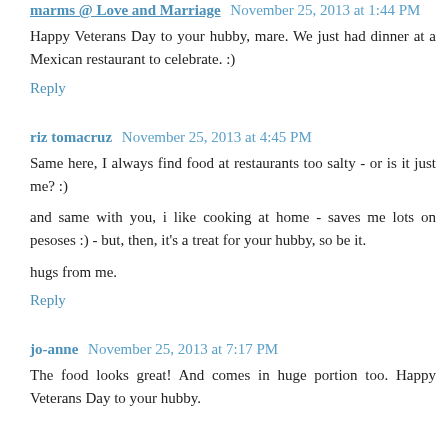marms @ Love and Marriage November 25, 2013 at 1:44 PM
Happy Veterans Day to your hubby, mare. We just had dinner at a Mexican restaurant to celebrate. :)
Reply
riz tomacruz November 25, 2013 at 4:45 PM
Same here, I always find food at restaurants too salty - or is it just me? :)
and same with you, i like cooking at home - saves me lots on pesoses :) - but, then, it's a treat for your hubby, so be it.
hugs from me.
Reply
jo-anne November 25, 2013 at 7:17 PM
The food looks great! And comes in huge portion too. Happy Veterans Day to your hubby.